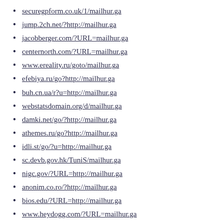securegpform.co.uk/1/mailhur.ga
jump.2ch.net/?http://mailhur.ga
jacobberger.com/?URL=mailhur.ga
centernorth.com/?URL=mailhur.ga
www.ereality.ru/goto/mailhur.ga
efebiya.ru/go?http://mailhur.ga
buh.cn.ua/r?u=http://mailhur.ga
webstatsdomain.org/d/mailhur.ga
damki.net/go/?http://mailhur.ga
athemes.ru/go?http://mailhur.ga
idli.st/go/?u=http://mailhur.ga
sc.devb.gov.hk/TuniS/mailhur.ga
nigc.gov/?URL=http://mailhur.ga
anonim.co.ro/?http://mailhur.ga
bios.edu/?URL=http://mailhur.ga
www.heydogg.com/?URL=mailhur.ga
seo.pablos.it/domain/mailhur.ga
sc.hkexnews.hk/TuniS/mailhur.ga
sc.hkex.com.hk/TuniS/mailhur.ga